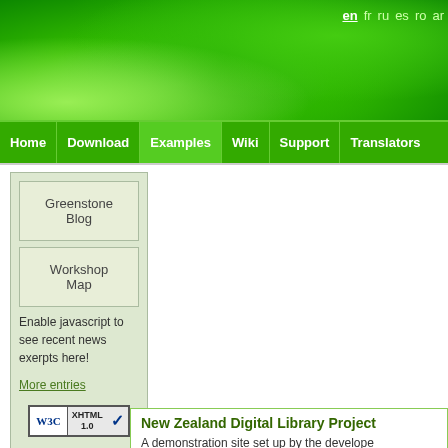en  fr  ru  es  ro  ar
Home | Download | Examples | Wiki | Support | Translators
Greenstone Blog
Workshop Map
Enable javascript to see recent news exerpts here!
More entries
[Figure (logo): W3C XHTML 1.0 validation badge with checkmark]
New Zealand Digital Library Project
A demonstration site set up by the developers of Greenstone, the New Zealand Digital Libr...